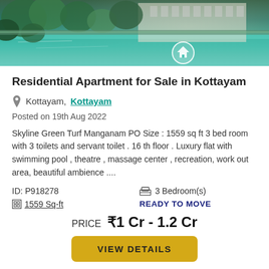[Figure (photo): Aerial/outdoor photo of a luxury apartment complex with a swimming pool, green trees, and building facade visible in the background]
Residential Apartment for Sale in Kottayam
Kottayam, Kottayam
Posted on 19th Aug 2022
Skyline Green Turf Manganam PO Size : 1559 sq ft 3 bed room with 3 toilets and servant toilet . 16 th floor . Luxury flat with swimming pool , theatre , massage center , recreation, work out area, beautiful ambience ....
ID: P918278
3 Bedroom(s)
1559 Sq-ft
READY TO MOVE
PRICE ₹1 Cr - 1.2 Cr
VIEW DETAILS